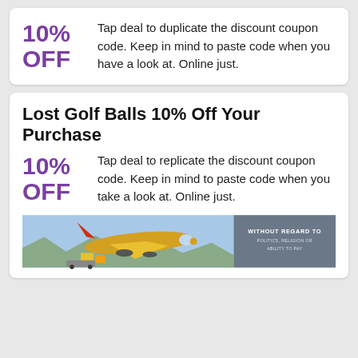10% OFF
Tap deal to duplicate the discount coupon code. Keep in mind to paste code when you have a look at. Online just.
Lost Golf Balls 10% Off Your Purchase
10% OFF
Tap deal to replicate the discount coupon code. Keep in mind to paste code when you take a look at. Online just.
[Figure (photo): Advertisement banner showing an airplane being loaded with cargo, with text WITHOUT REGARD TO POLITICS, RELIGION OR ABILITY TO PAY on the right side]